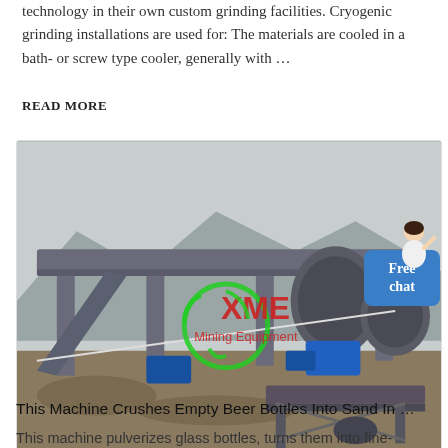technology in their own custom grinding facilities. Cryogenic grinding installations are used for: The materials are cooled in a bath- or screw type cooler, generally with ...
READ MORE
[Figure (photo): Industrial mining/crushing machinery at an outdoor site with mountains in background. XME Mining Equipment logo overlay (green recycling symbol with red XME text). Blue motor and belt conveyor equipment visible.]
This Machine Crushes Empty Beer Bottles Into Sand In ...
This machine pulverizes glass bottles, turns them into fine-